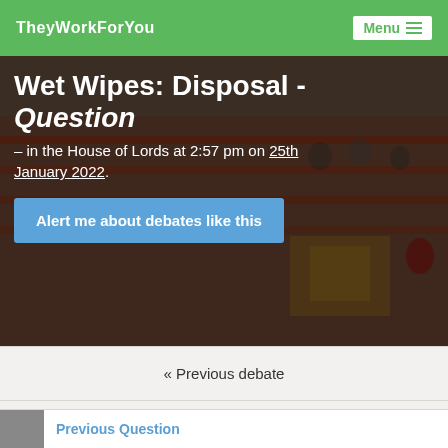TheyWorkForYou | Menu
Wet Wipes: Disposal - Question
– in the House of Lords at 2:57 pm on 25th January 2022.
Alert me about debates like this
« Previous debate
All Lords debates on 25 Jan 2022
Next debate »
Previous Question